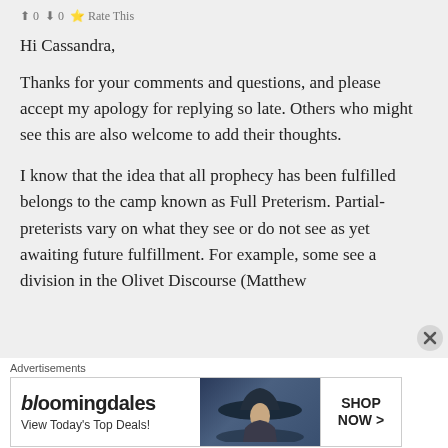0  0  Rate This
Hi Cassandra,
Thanks for your comments and questions, and please accept my apology for replying so late. Others who might see this are also welcome to add their thoughts.
I know that the idea that all prophecy has been fulfilled belongs to the camp known as Full Preterism. Partial-preterists vary on what they see or do not see as yet awaiting future fulfillment. For example, some see a division in the Olivet Discourse (Matthew
Advertisements
[Figure (screenshot): Bloomingdale's advertisement banner: logo text 'bloomingdales', tagline 'View Today's Top Deals!', image of woman in wide-brim hat, call-to-action button 'SHOP NOW >']